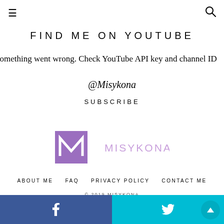≡  🔍
FIND ME ON YOUTUBE
Something went wrong. Check YouTube API key and channel ID
@Misykona
SUBSCRIBE
[Figure (logo): Misykona logo: purple square with white M lettermark and MISYKONA text in purple]
ABOUT ME   FAQ   PRIVACY POLICY   CONTACT ME
© 2019 MISYKONA
f   🐦   ▲